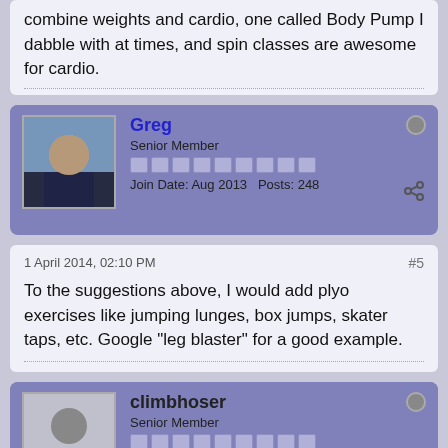combine weights and cardio, one called Body Pump I dabble with at times, and spin classes are awesome for cardio.
Greg
Senior Member
Join Date: Aug 2013   Posts: 248
1 April 2014, 02:10 PM
#5
To the suggestions above, I would add plyo exercises like jumping lunges, box jumps, skater taps, etc. Google "leg blaster" for a good example.
climbhoser
Senior Member
Join Date: Aug 2013   Posts: 249
2 April 2014, 09:00 AM
#6